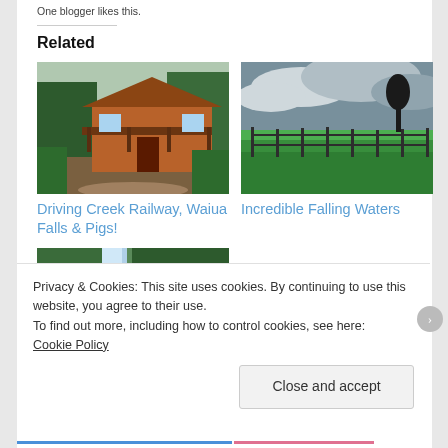One blogger likes this.
Related
[Figure (photo): Photo of Driving Creek Railway cottages and buildings with lush greenery]
Driving Creek Railway, Waiua Falls & Pigs!
[Figure (photo): Photo of green fields with fencing under a dramatic cloudy sky]
Incredible Falling Waters
[Figure (photo): Photo of a couple smiling in front of a waterfall, woman wearing a flower in her hair]
Privacy & Cookies: This site uses cookies. By continuing to use this website, you agree to their use.
To find out more, including how to control cookies, see here:
Cookie Policy
Close and accept